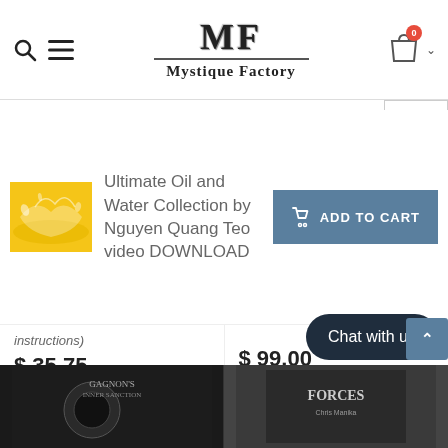Mystique Factory — MF logo, search icon, menu icon, shopping bag with badge 0
Ultimate Oil and Water Collection by Nguyen Quang Teo video DOWNLOAD
ADD TO CART
instructions)
$ 35.75
Add to Cart
$ 99.00
Add to Cart
Chat with us